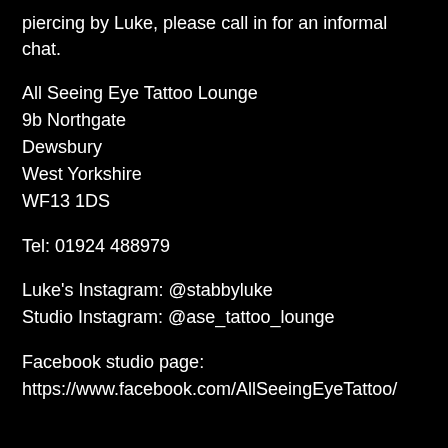piercing by Luke, please call in for an informal chat.
All Seeing Eye Tattoo Lounge
9b Northgate
Dewsbury
West Yorkshire
WF13 1DS
Tel: 01924 488979
Luke's Instagram: @stabbyluke
Studio Instagram: @ase_tattoo_lounge
Facebook studio page:
https://www.facebook.com/AllSeeingEyeTattoo/